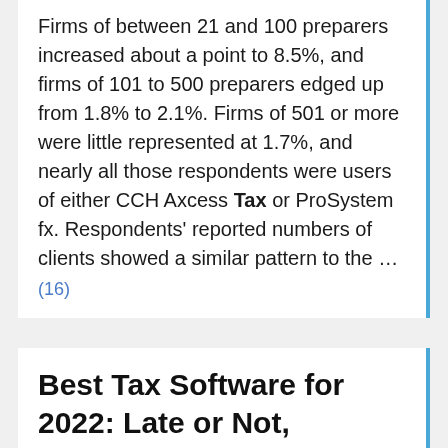Firms of between 21 and 100 preparers increased about a point to 8.5%, and firms of 101 to 500 preparers edged up from 1.8% to 2.1%. Firms of 501 or more were little represented at 1.7%, and nearly all those respondents were users of either CCH Axcess Tax or ProSystem fx. Respondents' reported numbers of clients showed a similar pattern to the …
(16)
Best Tax Software for 2022: Late or Not,